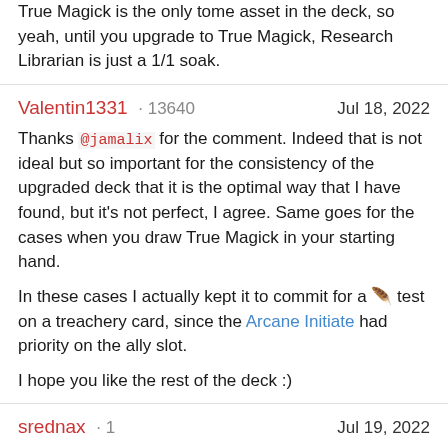True Magick is the only tome asset in the deck, so yeah, until you upgrade to True Magick, Research Librarian is just a 1/1 soak.
Valentin1331 · 13640    Jul 18, 2022
Thanks @jamalix for the comment. Indeed that is not ideal but so important for the consistency of the upgraded deck that it is the optimal way that I have found, but it's not perfect, I agree. Same goes for the cases when you draw True Magick in your starting hand.

In these cases I actually kept it to commit for a [feather] test on a treachery card, since the Arcane Initiate had priority on the ally slot.

I hope you like the rest of the deck :)
srednax · 1    Jul 19, 2022
HI @jamalix and @Valentin1331 thanks for the feedback. It makes sense now. I just wasn't sure if I was understanding it correctly. As for playing, it's been a little while since I resumed my game, it's been a little hectic IRL. I have a 3 week break